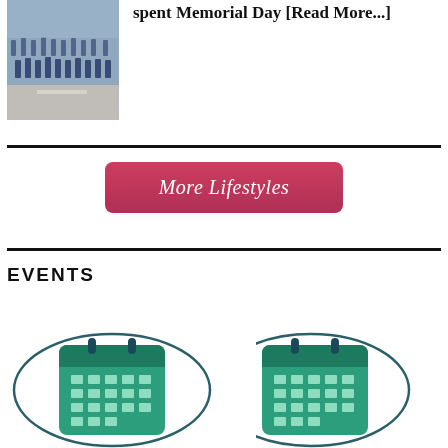[Figure (photo): Photo of a marching band on a street, people wearing blue uniforms]
spent Memorial Day [Read More...]
More Lifestyles
EVENTS
[Figure (illustration): Calendar icon inside an oval circle outline, teal/green color]
[Figure (illustration): Calendar icon inside an oval circle outline, teal/green color (partially cropped on right)]